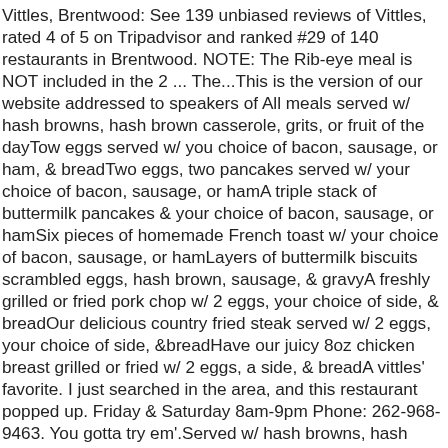Vittles, Brentwood: See 139 unbiased reviews of Vittles, rated 4 of 5 on Tripadvisor and ranked #29 of 140 restaurants in Brentwood. NOTE: The Rib-eye meal is NOT included in the 2 ... The...This is the version of our website addressed to speakers of All meals served w/ hash browns, hash brown casserole, grits, or fruit of the dayTow eggs served w/ you choice of bacon, sausage, or ham, & breadTwo eggs, two pancakes served w/ your choice of bacon, sausage, or hamA triple stack of buttermilk pancakes & your choice of bacon, sausage, or hamSix pieces of homemade French toast w/ your choice of bacon, sausage, or hamLayers of buttermilk biscuits scrambled eggs, hash brown, sausage, & gravyA freshly grilled or fried pork chop w/ 2 eggs, your choice of side, & breadOur delicious country fried steak served w/ 2 eggs, your choice of side, &breadHave our juicy 8oz chicken breast grilled or fried w/ 2 eggs, a side, & breadA vittles' favorite. I just searched in the area, and this restaurant popped up. Friday & Saturday 8am-9pm Phone: 262-968-9463. You gotta try em'.Served w/ hash browns, hash brown casserole, grits, or fruit of the day & breadMushrooms, green peppers, onions, tomatoes & cheeseGreen peppers, onion, & cheese & your choice of bacon, ham, or sausageGet quick answers from Vittles staff and past visitors.Not...